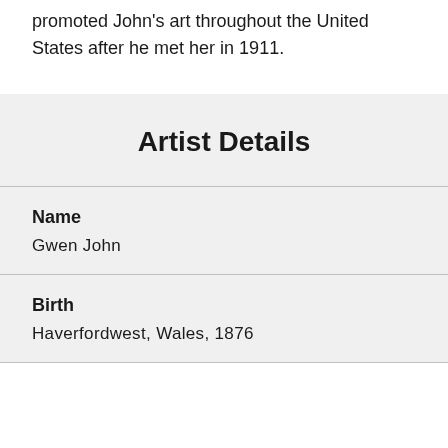promoted John's art throughout the United States after he met her in 1911.
Artist Details
Name
Gwen John
Birth
Haverfordwest, Wales, 1876